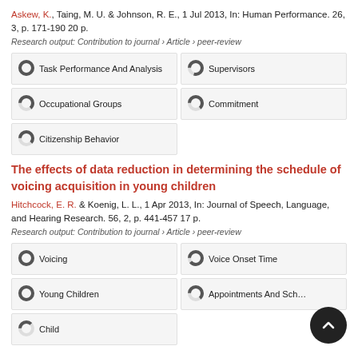Askew, K., Taing, M. U. & Johnson, R. E., 1 Jul 2013, In: Human Performance. 26, 3, p. 171-190 20 p.
Research output: Contribution to journal › Article › peer-review
[Figure (infographic): Keyword badges with donut icons: Task Performance And Analysis (100%), Supervisors (~80%), Occupational Groups (~65%), Commitment (~65%), Citizenship Behavior (~63%)]
The effects of data reduction in determining the schedule of voicing acquisition in young children
Hitchcock, E. R. & Koenig, L. L., 1 Apr 2013, In: Journal of Speech, Language, and Hearing Research. 56, 2, p. 441-457 17 p.
Research output: Contribution to journal › Article › peer-review
[Figure (infographic): Keyword badges with donut icons: Voicing (100%), Voice Onset Time (~90%), Young Children (100%), Appointments And Sch… (~65%), Child (~38%)]